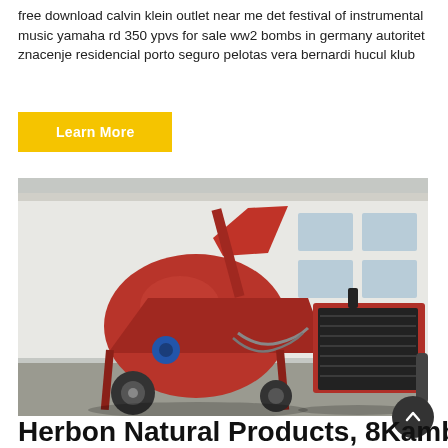free download calvin klein outlet near me det festival of instrumental music yamaha rd 350 ypvs for sale ww2 bombs in germany autoritet znacenje residencial porto seguro pelotas vera bernardi hucul klub
Learn More
[Figure (photo): A large red industrial concrete mixer / pump machine on a wheeled trailer, parked in front of a white building. To the right is a red engine/power unit. The machinery appears to be heavy construction equipment.]
Herbon Natural Products, 8Kambouris